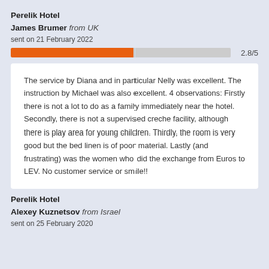Perelik Hotel
James Brumer from UK
sent on 21 February 2022
[Figure (other): Horizontal rating bar showing 2.8/5 score, orange fill approximately 56% width on grey background]
The service by Diana and in particular Nelly was excellent. The instruction by Michael was also excellent. 4 observations: Firstly there is not a lot to do as a family immediately near the hotel. Secondly, there is not a supervised creche facility, although there is play area for young children. Thirdly, the room is very good but the bed linen is of poor material. Lastly (and frustrating) was the women who did the exchange from Euros to LEV. No customer service or smile!!
Perelik Hotel
Alexey Kuznetsov from Israel
sent on 25 February 2020